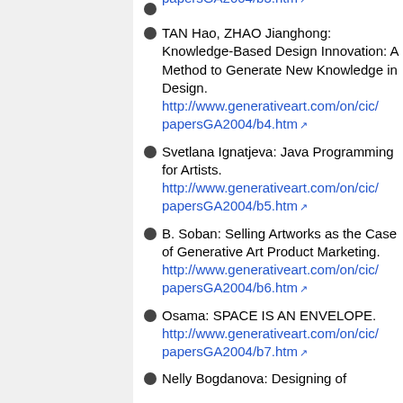papersGA2004/b3.htm (link)
TAN Hao, ZHAO Jianghong: Knowledge-Based Design Innovation: A Method to Generate New Knowledge in Design. http://www.generativeart.com/on/cic/papersGA2004/b4.htm
Svetlana Ignatjeva: Java Programming for Artists. http://www.generativeart.com/on/cic/papersGA2004/b5.htm
B. Soban: Selling Artworks as the Case of Generative Art Product Marketing. http://www.generativeart.com/on/cic/papersGA2004/b6.htm
Osama: SPACE IS AN ENVELOPE. http://www.generativeart.com/on/cic/papersGA2004/b7.htm
Nelly Bogdanova: Designing of ...